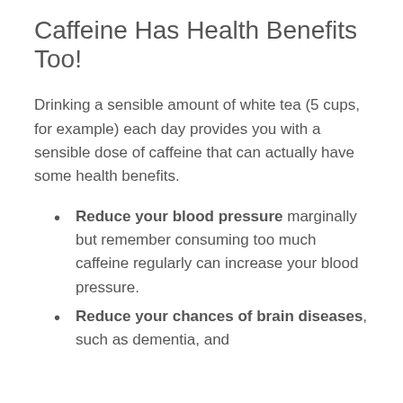Caffeine Has Health Benefits Too!
Drinking a sensible amount of white tea (5 cups, for example) each day provides you with a sensible dose of caffeine that can actually have some health benefits.
Reduce your blood pressure marginally but remember consuming too much caffeine regularly can increase your blood pressure.
Reduce your chances of brain diseases, such as dementia, and